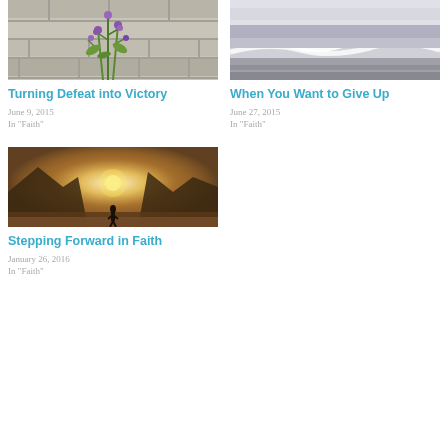[Figure (photo): Purple wildflowers growing against a stone/concrete wall background]
Turning Defeat into Victory
June 9, 2015
In "Faith"
[Figure (photo): Black and white photo of ocean waves on a beach]
When You Want to Give Up
June 27, 2015
In "Faith"
[Figure (photo): Mountain valley landscape with a person silhouette against bright sunrise/sunset]
Stepping Forward in Faith
January 26, 2016
In "Faith"